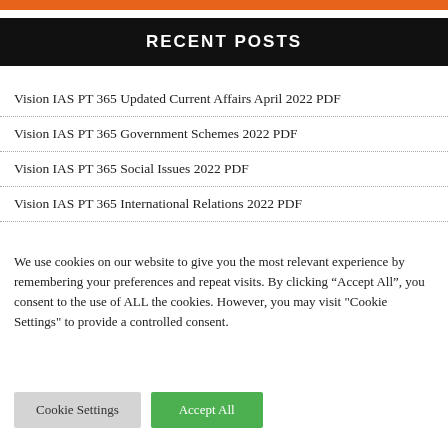RECENT POSTS
Vision IAS PT 365 Updated Current Affairs April 2022 PDF
Vision IAS PT 365 Government Schemes 2022 PDF
Vision IAS PT 365 Social Issues 2022 PDF
Vision IAS PT 365 International Relations 2022 PDF
We use cookies on our website to give you the most relevant experience by remembering your preferences and repeat visits. By clicking “Accept All”, you consent to the use of ALL the cookies. However, you may visit "Cookie Settings" to provide a controlled consent.
Cookie Settings | Accept All